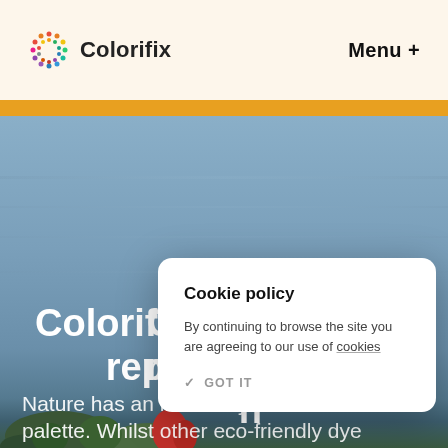Colorifix | Menu +
[Figure (screenshot): Colorifix website screenshot showing hero background image of ocean/coral reef with blue water and colorful coral at the bottom, an orange navigation bar, and a cookie policy modal overlay]
Colorifix … replicate … h
Cookie policy
By continuing to browse the site you are agreeing to our use of cookies
✓ GOT IT
Nature has an incredibly broad colour palette. Whilst other eco-friendly dye